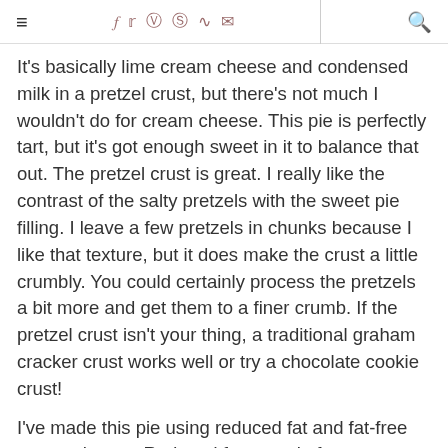≡  f  t  instagram  pinterest  rss  mail  |  search
It's basically lime cream cheese and condensed milk in a pretzel crust, but there's not much I wouldn't do for cream cheese. This pie is perfectly tart, but it's got enough sweet in it to balance that out. The pretzel crust is great. I really like the contrast of the salty pretzels with the sweet pie filling. I leave a few pretzels in chunks because I like that texture, but it does make the crust a little crumbly. You could certainly process the pretzels a bit more and get them to a finer crumb. If the pretzel crust isn't your thing, a traditional graham cracker crust works well or try a chocolate cookie crust!
I've made this pie using reduced fat and fat-free cream cheese. Reduced fat was ok, fat-